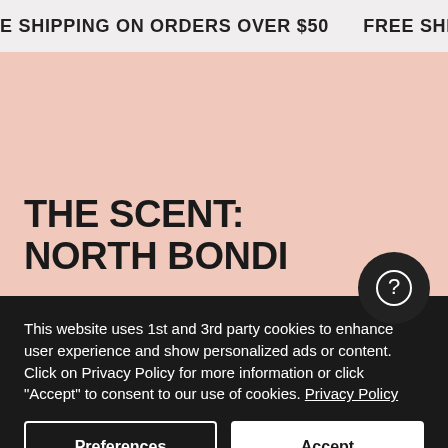E SHIPPING ON ORDERS OVER $50    FREE SHIPP
THE SCENT:
NORTH BONDI
This website uses 1st and 3rd party cookies to enhance user experience and show personalized ads or content. Click on Privacy Policy for more information or click "Accept" to consent to our use of cookies. Privacy Policy
Preferences
Accept